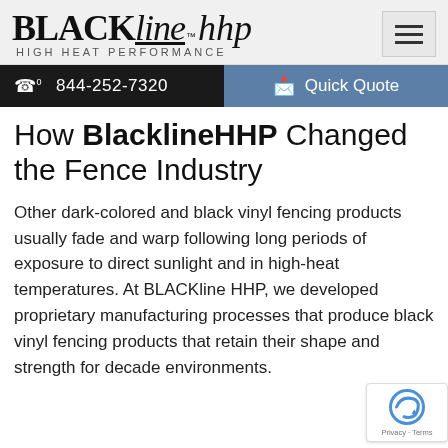[Figure (logo): BLACKline HHP High Heat Performance logo with hamburger menu icon]
844-252-7320
Quick Quote
How BlacklineHHP Changed the Fence Industry
Other dark-colored and black vinyl fencing products usually fade and warp following long periods of exposure to direct sunlight and in high-heat temperatures. At BLACKline HHP, we developed proprietary manufacturing processes that produce black vinyl fencing products that retain their shape and strength for decades environments.